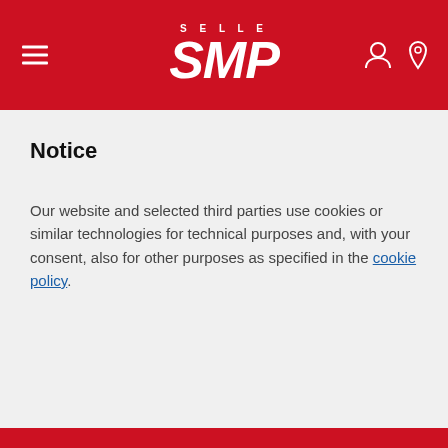[Figure (logo): Selle SMP logo on red header bar with hamburger menu icon on left and user/location icons on right]
Notice
Our website and selected third parties use cookies or similar technologies for technical purposes and, with your consent, also for other purposes as specified in the cookie policy.
ACCEPT ALL COOKIES
PRIVACY PREFERENCES